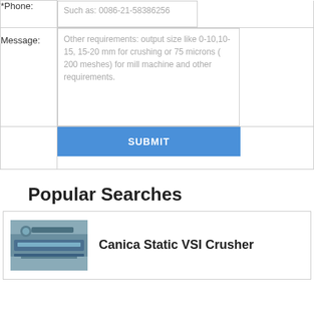| *Phone: | Such as: 0086-21-58386256 |
| Message: | Other requirements: output size like 0-10,10-15, 15-20 mm for crushing or 75 microns ( 200 meshes) for mill machine and other requirements. |
|  | SUBMIT |
Popular Searches
Canica Static VSI Crusher